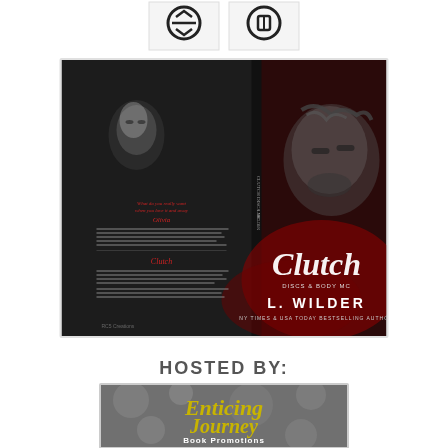[Figure (illustration): Partial view of two circular social media icon buttons (appears to be Goodreads and Facebook or similar) at the top of the page]
[Figure (photo): Book cover for 'Clutch' by L. Wilder. Dark dramatic cover showing a woman on the left side and a man with tousled hair on the right side. Red and black color scheme. Text includes character names Olivia and Clutch with descriptive blurb text. Title 'Clutch' in cursive script, subtitle 'Discs & Body MC', author name 'L. Wilder', and tagline 'NY Times & USA Today Bestselling Author'.]
HOSTED BY:
[Figure (logo): Enticing Journey Book Promotions logo. Gray bokeh background with gold/yellow italic cursive text 'Enticing Journey' and white bold text 'Book Promotions' below.]